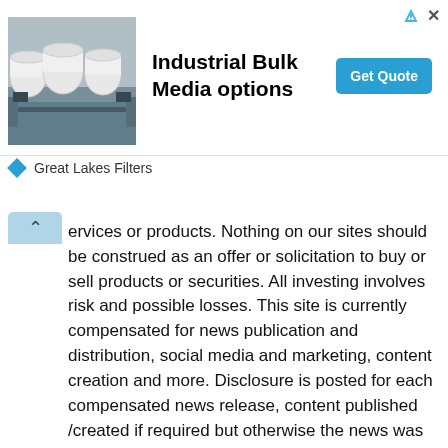[Figure (infographic): Advertisement banner for Great Lakes Filters featuring Industrial Bulk Media options with a photo of large industrial paper rolls, a Get Quote button, and the Great Lakes Filters brand name.]
ervices or products. Nothing on our sites should be construed as an offer or solicitation to buy or sell products or securities. All investing involves risk and possible losses. This site is currently compensated for news publication and distribution, social media and marketing, content creation and more. Disclosure is posted for each compensated news release, content published /created if required but otherwise the news was not compensated for and was published for the sole interest of our readers and followers. Contact management and IR of each company directly regarding specific questions. Disclosure: this news article featuring NBM is a paid for news release on Investorideas.com - (two thousand) More disclaimer info: